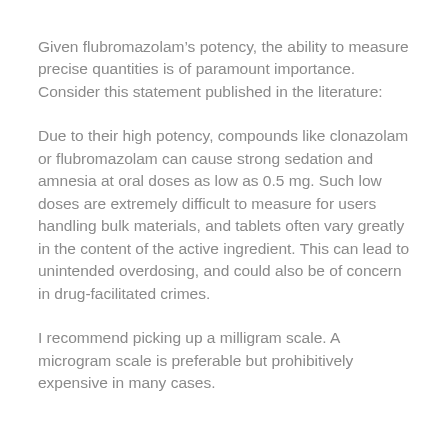Given flubromazolam’s potency, the ability to measure precise quantities is of paramount importance. Consider this statement published in the literature:
Due to their high potency, compounds like clonazolam or flubromazolam can cause strong sedation and amnesia at oral doses as low as 0.5 mg. Such low doses are extremely difficult to measure for users handling bulk materials, and tablets often vary greatly in the content of the active ingredient. This can lead to unintended overdosing, and could also be of concern in drug-facilitated crimes.
I recommend picking up a milligram scale. A microgram scale is preferable but prohibitively expensive in many cases.